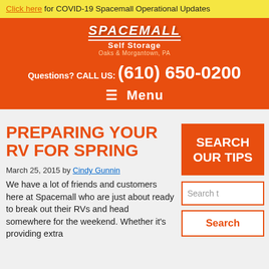Click here for COVID-19 Spacemall Operational Updates
[Figure (logo): Spacemall Self Storage logo with text 'Oaks & Morgantown, PA']
Questions? CALL US: (610) 650-0200
≡ Menu
PREPARING YOUR RV FOR SPRING
SEARCH OUR TIPS
March 25, 2015 by Cindy Gunnin
We have a lot of friends and customers here at Spacemall who are just about ready to break out their RVs and head somewhere for the weekend. Whether it's providing extra
Search t
Search